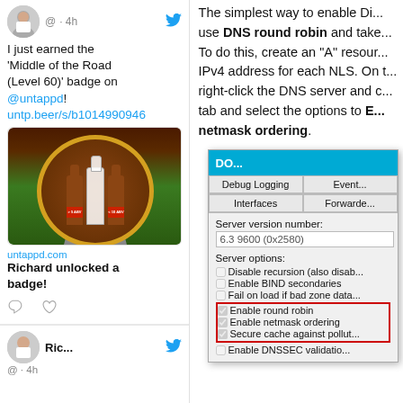[Figure (screenshot): Twitter avatar - person in suit]
@ · 4h
I just earned the 'Middle of the Road (Level 60)' badge on @untappd! untp.beer/s/b10149900946
[Figure (photo): Beer bottles badge image from untappd showing bottles on road with ABV labels]
untappd.com
Richard unlocked a badge!
[Figure (screenshot): Twitter avatar - person in suit bottom]
Ric... @ · 4h
The simplest way to enable Di... use DNS round robin and take... To do this, create an "A" resour... IPv4 address for each NLS. On t... right-click the DNS server and c... tab and select the options to Enable round robin and Enable netmask ordering.
[Figure (screenshot): DNS server properties dialog showing Advanced tab with checkboxes including Enable round robin and Enable netmask ordering checked, highlighted in red box]